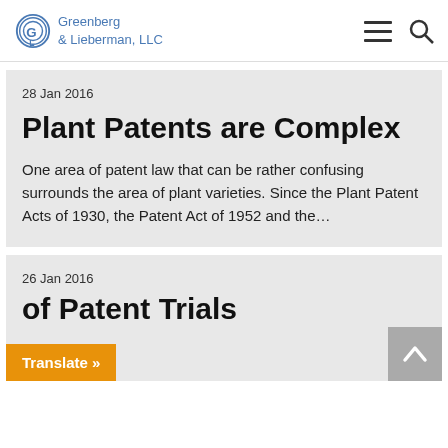Greenberg & Lieberman, LLC
28 Jan 2016
Plant Patents are Complex
One area of patent law that can be rather confusing surrounds the area of plant varieties. Since the Plant Patent Acts of 1930, the Patent Act of 1952 and the...
26 Jan 2016
of Patent Trials